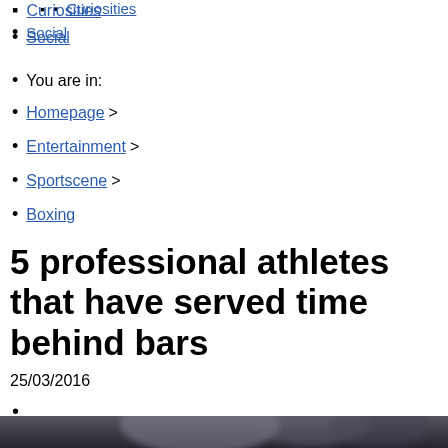Curiosities
Social
You are in:
Homepage >
Entertainment >
Sportscene >
Boxing
5 professional athletes that have served time behind bars
25/03/2016
[Figure (photo): Blurred photo of a person with dark hair against a dark background, appearing to be a boxer or athlete]